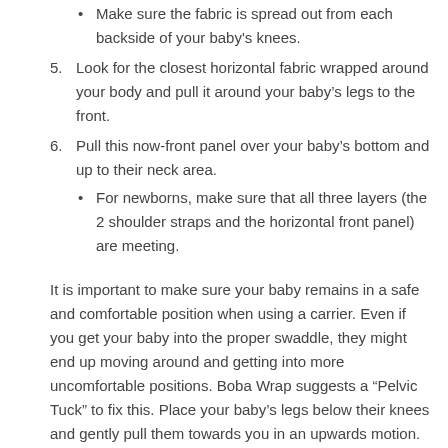Make sure the fabric is spread out from each backside of your baby's knees.
5. Look for the closest horizontal fabric wrapped around your body and pull it around your baby's legs to the front.
6. Pull this now-front panel over your baby's bottom and up to their neck area.
For newborns, make sure that all three layers (the 2 shoulder straps and the horizontal front panel) are meeting.
It is important to make sure your baby remains in a safe and comfortable position when using a carrier. Even if you get your baby into the proper swaddle, they might end up moving around and getting into more uncomfortable positions. Boba Wrap suggests a “Pelvic Tuck” to fix this. Place your baby’s legs below their knees and gently pull them towards you in an upwards motion. This technique returns your baby to a more ergonomically